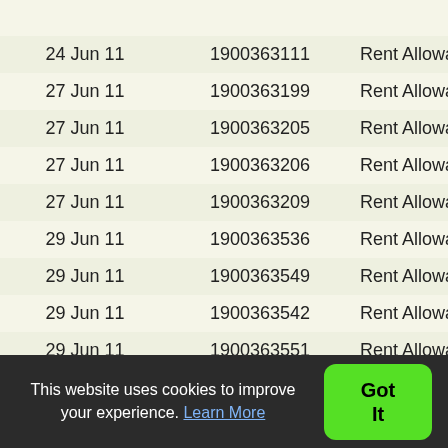| Date | ID | Type |
| --- | --- | --- |
| 24 Jun 11 | 1900363111 | Rent Allowances |
| 27 Jun 11 | 1900363199 | Rent Allowances |
| 27 Jun 11 | 1900363205 | Rent Allowances |
| 27 Jun 11 | 1900363206 | Rent Allowances |
| 27 Jun 11 | 1900363209 | Rent Allowances |
| 29 Jun 11 | 1900363536 | Rent Allowances |
| 29 Jun 11 | 1900363549 | Rent Allowances |
| 29 Jun 11 | 1900363542 | Rent Allowances |
| 29 Jun 11 | 1900363551 | Rent Allowances |
| 29 Jun 11 | 1900363557 | Rent Allowances |
| 29 Jun 11 | 1900363550 | Rent Allowances |
| 29 Jun 11 | 1900363543 | Rent Allowances |
This website uses cookies to improve your experience. Learn More